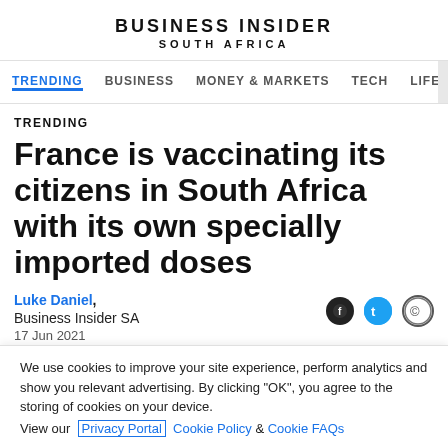BUSINESS INSIDER
SOUTH AFRICA
TRENDING  BUSINESS  MONEY & MARKETS  TECH  LIFE
TRENDING
France is vaccinating its citizens in South Africa with its own specially imported doses
Luke Daniel, Business Insider SA 17 Jun 2021
We use cookies to improve your site experience, perform analytics and show you relevant advertising. By clicking "OK", you agree to the storing of cookies on your device. View our Privacy Portal  Cookie Policy &  Cookie FAQs